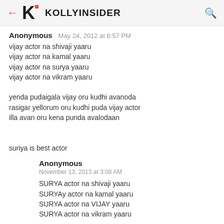← K· KOLLYINSIDER 🔍
Anonymous  May 24, 2012 at 6:57 PM

vijay actor na shivaji yaaru
vijay actor na kamal yaaru
vijay actor na surya yaaru
vijay actor na vikram yaaru

yenda pudaigala vijay oru kudhi avanoda rasigar yellorum oru kudhi puda vijay actor illa avan oru kena punda avalodaan


suriya is best actor
Anonymous
November 13, 2013 at 3:08 AM

SURYA actor na shivaji yaaru
SURYAy actor na kamal yaaru
SURYA actor na VIJAY yaaru
SURYA actor na vikram yaaru